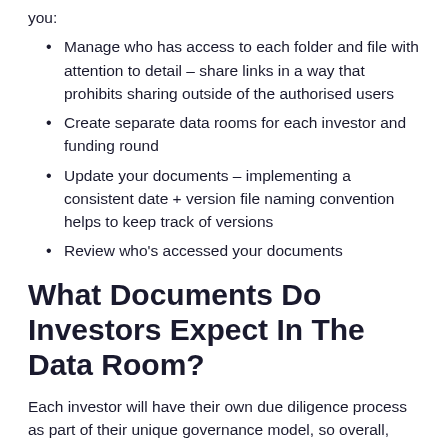you:
Manage who has access to each folder and file with attention to detail – share links in a way that prohibits sharing outside of the authorised users
Create separate data rooms for each investor and funding round
Update your documents – implementing a consistent date + version file naming convention helps to keep track of versions
Review who's accessed your documents
What Documents Do Investors Expect In The Data Room?
Each investor will have their own due diligence process as part of their unique governance model, so overall, documentation may vary. However you should expect to include the following core documents which will be